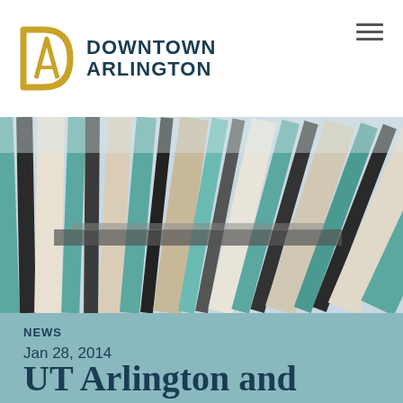DOWNTOWN ARLINGTON
[Figure (photo): Close-up photograph of colorful wooden and painted slats/boards arranged in a fan-like pattern, featuring teal, beige, cream, and brown tones, appearing to be an art installation or architectural detail.]
NEWS
Jan 28, 2014
UT Arlington and